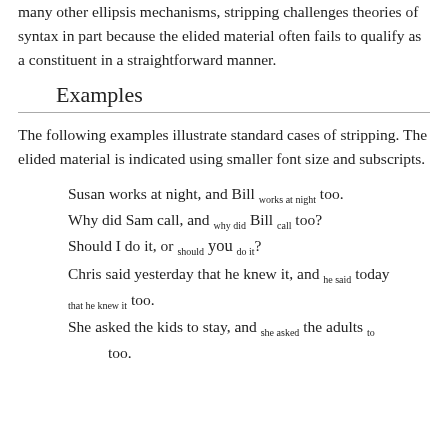many other ellipsis mechanisms, stripping challenges theories of syntax in part because the elided material often fails to qualify as a constituent in a straightforward manner.
Examples
The following examples illustrate standard cases of stripping. The elided material is indicated using smaller font size and subscripts.
Susan works at night, and Bill [works at night] too.
Why did Sam call, and [why did] Bill [call] too?
Should I do it, or [should] you [do it]?
Chris said yesterday that he knew it, and [he said] today [that he knew it] too.
She asked the kids to stay, and [she asked] the adults [to] too.